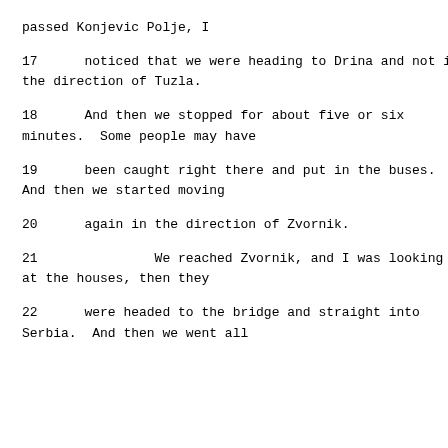passed Konjevic Polje, I
17     noticed that we were heading to Drina and not in the direction of Tuzla.
18     And then we stopped for about five or six minutes.  Some people may have
19     been caught right there and put in the buses. And then we started moving
20     again in the direction of Zvornik.
21             We reached Zvornik, and I was looking at the houses, then they
22     were headed to the bridge and straight into Serbia.  And then we went all